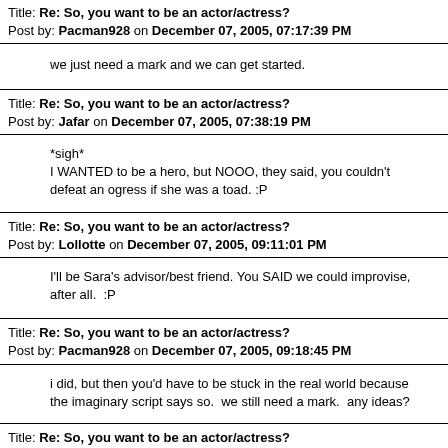Title: Re: So, you want to be an actor/actress?
Post by: Pacman928 on December 07, 2005, 07:17:39 PM
we just need a mark and we can get started.
Title: Re: So, you want to be an actor/actress?
Post by: Jafar on December 07, 2005, 07:38:19 PM
*sigh*
I WANTED to be a hero, but NOOO, they said, you couldn't defeat an ogress if she was a toad. :P
Title: Re: So, you want to be an actor/actress?
Post by: Lollotte on December 07, 2005, 09:11:01 PM
I'll be Sara's advisor/best friend. You SAID we could improvise, after all.  :P
Title: Re: So, you want to be an actor/actress?
Post by: Pacman928 on December 07, 2005, 09:18:45 PM
i did, but then you'd have to be stuck in the real world because the imaginary script says so.  we still need a mark.  any ideas?
Title: Re: So, you want to be an actor/actress?
Post by: Sanna on December 07, 2005, 09:04:15 PM